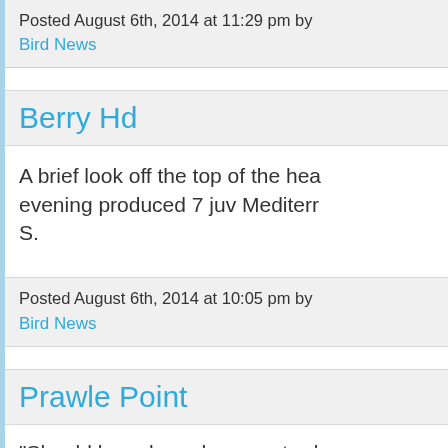Posted August 6th, 2014 at 11:29 pm by
Bird News
Berry Hd
A brief look off the top of the head this evening produced 7 juv Mediterr... S.
Posted August 6th, 2014 at 10:05 pm by
Bird News
Prawle Point
"Should have been here yesterd...